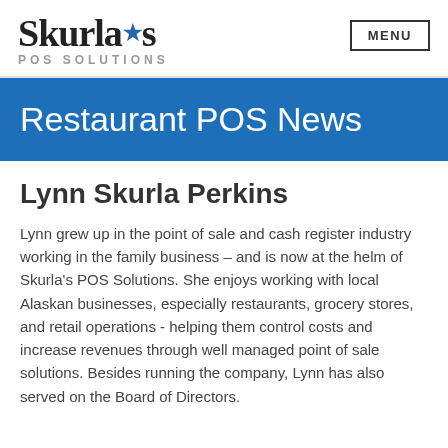Skurla's POS Solutions
Restaurant POS News
Lynn Skurla Perkins
Lynn grew up in the point of sale and cash register industry working in the family business – and is now at the helm of Skurla's POS Solutions. She enjoys working with local Alaskan businesses, especially restaurants, grocery stores, and retail operations - helping them control costs and increase revenues through well managed point of sale solutions. Besides running the company, Lynn has also served on the Board of Directors.